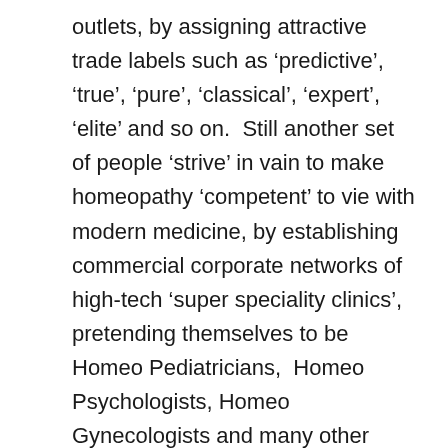outlets, by assigning attractive trade labels such as ‘predictive’, ‘true’, ‘pure’, ‘classical’, ‘expert’, ‘elite’ and so on.  Still another set of people ‘strive’ in vain to make homeopathy ‘competent’ to vie with modern medicine, by establishing commercial corporate networks of high-tech ‘super speciality clinics’, pretending themselves to be Homeo Pediatricians,  Homeo Psychologists, Homeo Gynecologists and many other specialities. Are not those people trying to fool the public and themselves by enacting such absurd drama, whereas it is well known that, being a holistic system of therapeutics, there is very limited scope for such specialities in Homeopathy.  Recently, I have even had a chance to interact with an ‘elite class’ young homeopath, declaring himself to be a